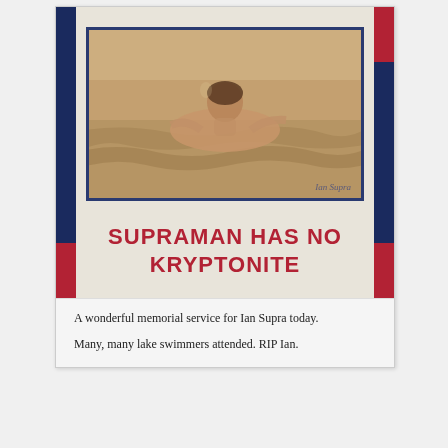[Figure (photo): A framed poster with red, white and navy blue decorative border stripes. Contains a sepia-toned photograph of a swimmer (Ian Supra) in water, with the watermark 'Ian Supra' in the lower right of the photo. Below the photo, bold red uppercase text reads 'SUPRAMAN HAS NO KRYPTONITE'.]
A wonderful memorial service for Ian Supra today.

Many, many lake swimmers attended. RIP Ian.